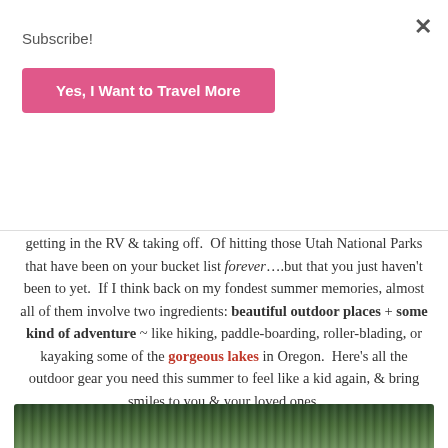Subscribe!
Yes, I Want to Travel More
adventure.  Of the great outdoors.  Of camping under the stars.  Of getting in the RV & taking off.  Of hitting those Utah National Parks that have been on your bucket list forever….but that you just haven't been to yet.  If I think back on my fondest summer memories, almost all of them involve two ingredients: beautiful outdoor places + some kind of adventure ~ like hiking, paddle-boarding, roller-blading, or kayaking some of the gorgeous lakes in Oregon.  Here's all the outdoor gear you need this summer to feel like a kid again, & bring smiles to you & your loved ones.
[Figure (photo): Partial view of a nature/outdoor photograph at the bottom of the page]